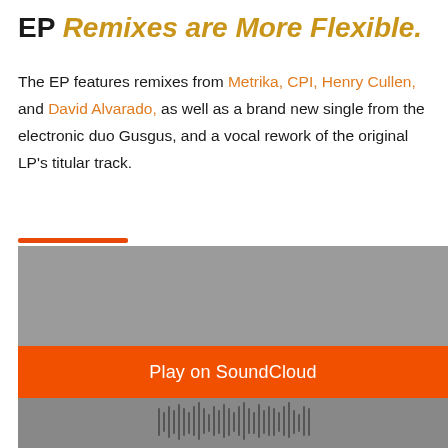EP Remixes are More Flexible.
The EP features remixes from Metrika, CPI, Henry Cullen, and David Alvarado, as well as a brand new single from the electronic duo Gusgus, and a vocal rework of the original LP's titular track.
[Figure (other): SoundCloud embedded player widget with gray background, orange 'Play on SoundCloud' button, and waveform at the bottom. An orange progress/accent bar appears at the top left.]